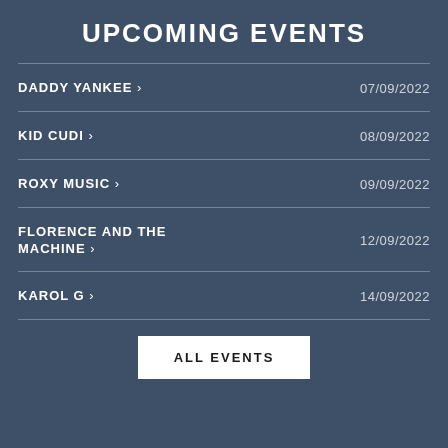UPCOMING EVENTS
DADDY YANKEE › 07/09/2022
KID CUDI › 08/09/2022
ROXY MUSIC › 09/09/2022
FLORENCE AND THE MACHINE › 12/09/2022
KAROL G › 14/09/2022
ALL EVENTS